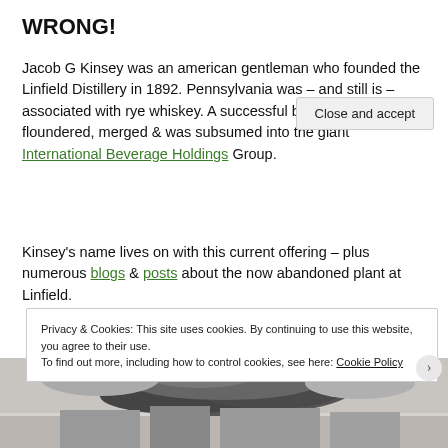WRONG!
Jacob G Kinsey was an american gentleman who founded the Linfield Distillery in 1892. Pennsylvania was – and still is – associated with rye whiskey. A successful business flourished, floundered, merged & was subsumed into the giant International Beverage Holdings Group.
Kinsey's name lives on with this current offering – plus numerous blogs & posts about the now abandoned plant at Linfield.
[Figure (photo): Black and white photograph of a building with smoke or clouds above it, partially visible at the bottom of the page]
Privacy & Cookies: This site uses cookies. By continuing to use this website, you agree to their use.
To find out more, including how to control cookies, see here: Cookie Policy
Close and accept